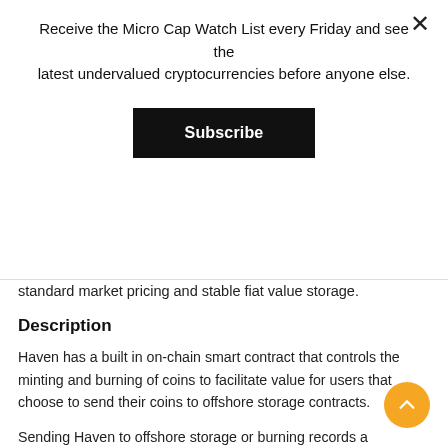Receive the Micro Cap Watch List every Friday and see the latest undervalued cryptocurrencies before anyone else.
Subscribe
standard market pricing and stable fiat value storage.
Description
Haven has a built in on-chain smart contract that controls the minting and burning of coins to facilitate value for users that choose to send their coins to offshore storage contracts.
Sending Haven to offshore storage or burning records a reference on the blockchain to the current fiat value which can be restored later back into Haven by minting new coins to the tune of the current fiat value.
Haven uses ring signatures, ring confidential transactions